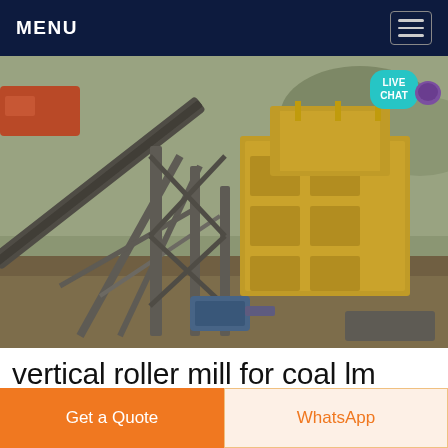MENU
[Figure (photo): Photograph of a large yellow industrial mining/crushing machine with conveyor belt, metal framework, dust, set in an outdoor quarry or mining site with rocks and vegetation in the background.]
vertical roller mill for coal lm
Get a Quote
WhatsApp